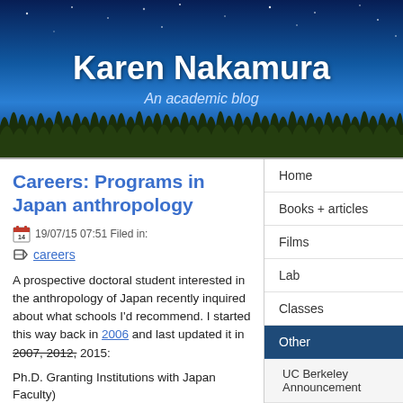Karen Nakamura
An academic blog
Careers: Programs in Japan anthropology
19/07/15 07:51 Filed in:
careers
A prospective doctoral student interested in the anthropology of Japan recently inquired about what schools I'd recommend. I started this way back in 2006 and last updated it in 2007, 2012, 2015:
Ph.D. Granting Institutions with Japan Faculty)
Canada: University of British Columbia - Prof. Millie Creighton
USA-CA: Stanford University -
Home
Books + articles
Films
Lab
Classes
Other
UC Berkeley Announcement
Public anthropology
Service and Awards
CV (HTML)
CV (PDF)
Blog (new version)